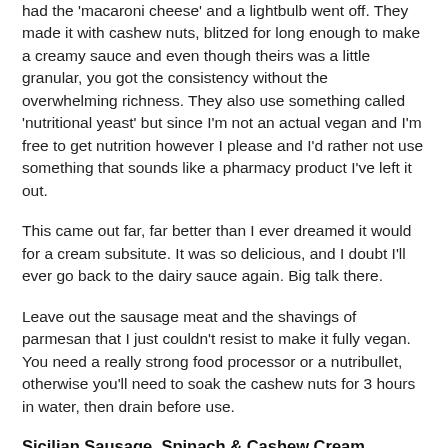had the 'macaroni cheese' and a lightbulb went off. They made it with cashew nuts, blitzed for long enough to make a creamy sauce and even though theirs was a little granular, you got the consistency without the overwhelming richness. They also use something called 'nutritional yeast' but since I'm not an actual vegan and I'm free to get nutrition however I please and I'd rather not use something that sounds like a pharmacy product I've left it out.
This came out far, far better than I ever dreamed it would for a cream subsitute. It was so delicious, and I doubt I'll ever go back to the dairy sauce again. Big talk there.
Leave out the sausage meat and the shavings of parmesan that I just couldn't resist to make it fully vegan. You need a really strong food processor or a nutribullet, otherwise you'll need to soak the cashew nuts for 3 hours in water, then drain before use.
Sicilian Sausage, Spinach & Cashew Cream Bucatini
Serves 1